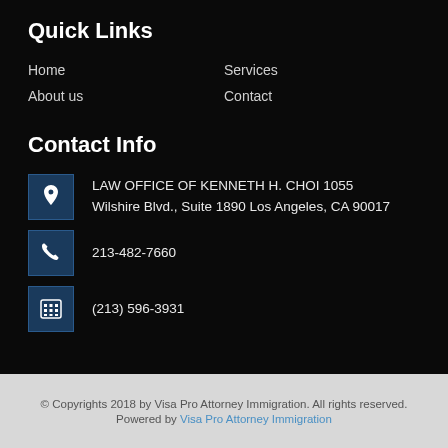Quick Links
Home
Services
About us
Contact
Contact Info
LAW OFFICE OF KENNETH H. CHOI 1055 Wilshire Blvd., Suite 1890 Los Angeles, CA 90017
213-482-7660
(213) 596-3931
© Copyrights 2018 by Visa Pro Attorney Immigration. All rights reserved. Powered by Visa Pro Attorney Immigration